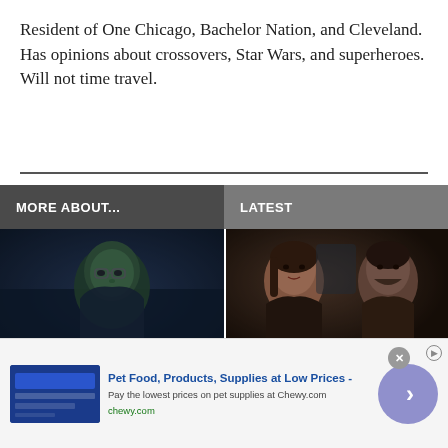Resident of One Chicago, Bachelor Nation, and Cleveland. Has opinions about crossovers, Star Wars, and superheroes. Will not time travel.
MORE ABOUT...
LATEST
[Figure (photo): Screenshot of a green superhero character (She-Hulk) wearing glasses in a dark scene]
She-Hulk: Attorney At
[Figure (photo): Two people — a woman and a man — in a scene from Real Housewives]
Real Housewives Of
Pet Food, Products, Supplies at Low Prices - Pay the lowest prices on pet supplies at Chewy.com chewy.com